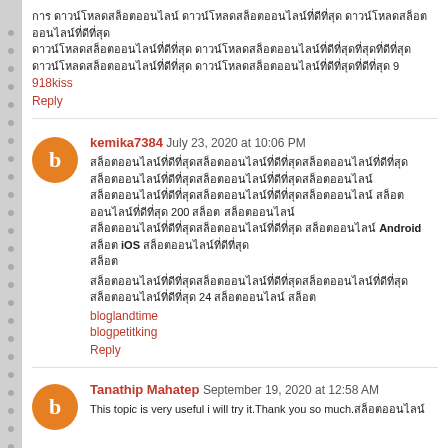การ ดาวน์โหลดสล็อตออนไลน์ ดาวน์โหลดสล็อตออนไลน์ที่ดีที่สุด ดาวน์โหลดสล็อตออนไลน์ที่ดีที่สุด ดาวน์โหลดสล็อตออนไลน์ที่ดีที่สุด ดาวน์โหลดสล็อตออนไลน์ที่ดีที่สุดที่สุดที่ดีที่สุด ดาวน์โหลดสล็อตออนไลน์ที่ดีที่สุด ดาวน์โหลดสล็อตออนไลน์ที่ดีที่สุดที่ดีที่สุด 9
918kiss
Reply
kemika7384 July 23, 2020 at 10:06 PM
สล็อตออนไลน์ที่ดีที่สุด... 200 ... Android ... iOS ...
... 24 ...
bloglandtime
blogpetitking
Reply
Tanathip Mahatep September 19, 2020 at 12:58 AM
This topic is very useful i will try it.Thank you so much.สล็อตออนไลน์